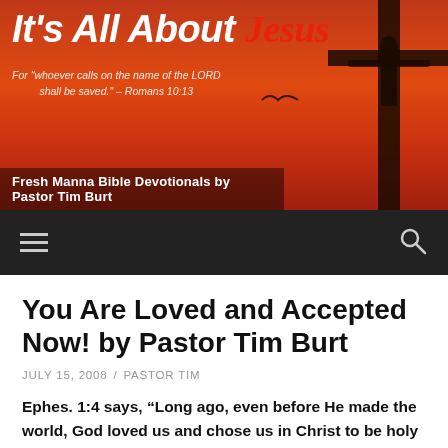[Figure (illustration): Website banner header with orange-red sunset background, cross silhouette on right, white italic bold text reading 'It's All About Jesus', italic verse text, and subtitle 'Fresh Manna Bible Devotionals by Pastor Tim Burt']
[Figure (screenshot): Black navigation bar with hamburger menu icon on left and search magnifying glass icon on right]
You Are Loved and Accepted Now! by Pastor Tim Burt
JULY 15, 2008  /  PASTOR TIM
Ephes. 1:4 says, “Long ago, even before He made the world, God loved us and chose us in Christ to be holy and without fault in His eyes.”
Have you ever been lied to? You don’t like it. Have you